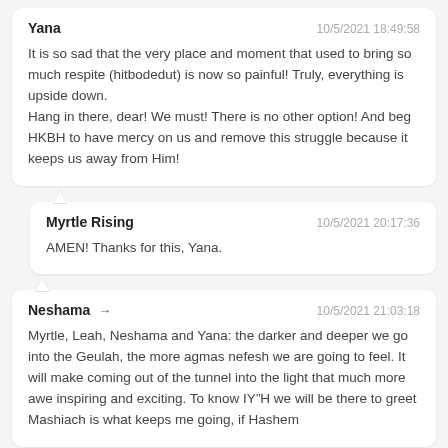Yana
10/5/2021 18:49:58
It is so sad that the very place and moment that used to bring so much respite (hitbodedut) is now so painful! Truly, everything is upside down.
Hang in there, dear! We must! There is no other option! And beg HKBH to have mercy on us and remove this struggle because it keeps us away from Him!
Myrtle Rising
10/5/2021 20:17:36
AMEN! Thanks for this, Yana.
Neshama
10/5/2021 21:03:18
Myrtle, Leah, Neshama and Yana: the darker and deeper we go into the Geulah, the more agmas nefesh we are going to feel. It will make coming out of the tunnel into the light that much more awe inspiring and exciting. To know IY"H we will be there to greet Mashiach is what keeps me going, if Hashem